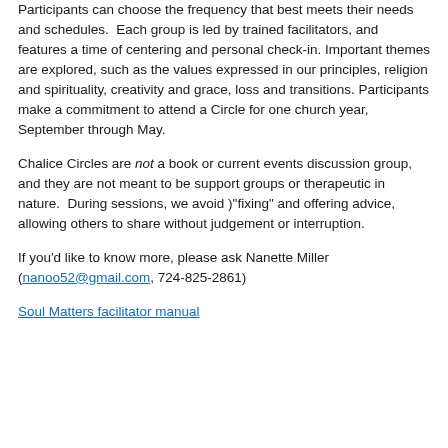Participants can choose the frequency that best meets their needs and schedules. Each group is led by trained facilitators, and features a time of centering and personal check-in. Important themes are explored, such as the values expressed in our principles, religion and spirituality, creativity and grace, loss and transitions. Participants make a commitment to attend a Circle for one church year, September through May.
Chalice Circles are not a book or current events discussion group, and they are not meant to be support groups or therapeutic in nature. During sessions, we avoid )"fixing" and offering advice, allowing others to share without judgement or interruption.
If you'd like to know more, please ask Nanette Miller (nanoo52@gmail.com, 724-825-2861)
Soul Matters facilitator manual